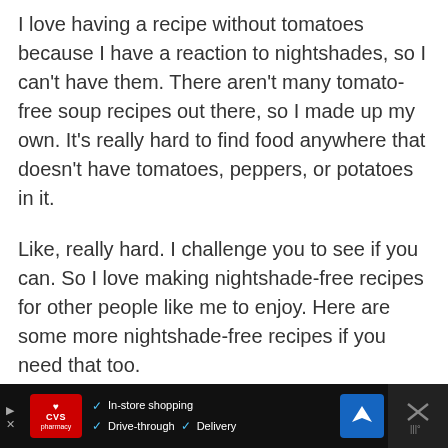I love having a recipe without tomatoes because I have a reaction to nightshades, so I can't have them. There aren't many tomato-free soup recipes out there, so I made up my own. It's really hard to find food anywhere that doesn't have tomatoes, peppers, or potatoes in it.
Like, really hard. I challenge you to see if you can. So I love making nightshade-free recipes for other people like me to enjoy. Here are some more nightshade-free recipes if you need that too.
[Figure (other): Advertisement bar at the bottom: CVS Pharmacy ad with In-store shopping, Drive-through, and Delivery options with a navigation icon and close button.]